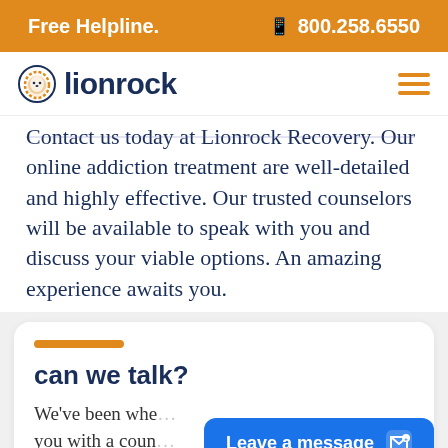Free Helpline.  800.258.6550
[Figure (logo): Lionrock logo with lion head icon and text 'lionrock' in dark navy blue]
Contact us today at Lionrock Recovery. Our online addiction treatment are well-detailed and highly effective. Our trusted counselors will be available to speak with you and discuss your viable options. An amazing experience awaits you.
can we talk?
We've been whe... you with a coun...